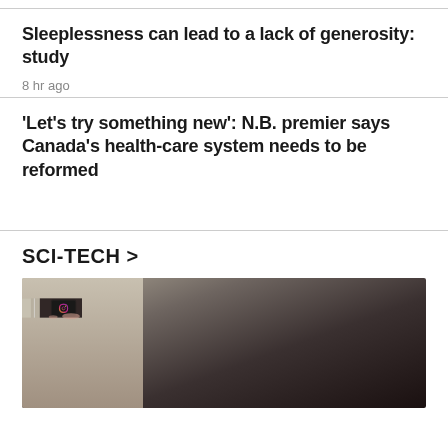Sleeplessness can lead to a lack of generosity: study
8 hr ago
'Let's try something new': N.B. premier says Canada's health-care system needs to be reformed
SCI-TECH >
[Figure (photo): A hand holding a smartphone displaying the Instagram app icon logo on a dark background, with a blurred background behind.]